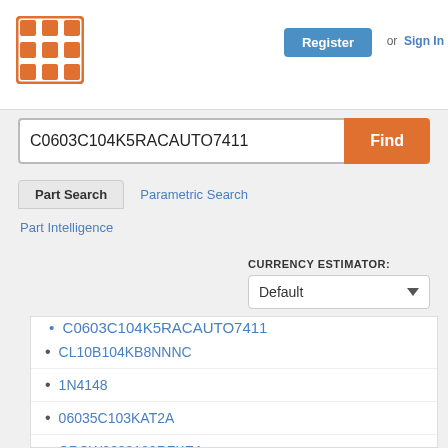[Figure (logo): Orange grid/matrix logo icon]
Register or Sign In
C0603C104K5RACAUTO7411
Find
Part Search
Parametric Search
Part Intelligence
CURRENCY ESTIMATOR:
Default
CL10B104KB8NNNC
1N4148
06035C103KAT2A
CRCW0603100RFKEA
LBMF1608T100K
CRCW040210K0FKED